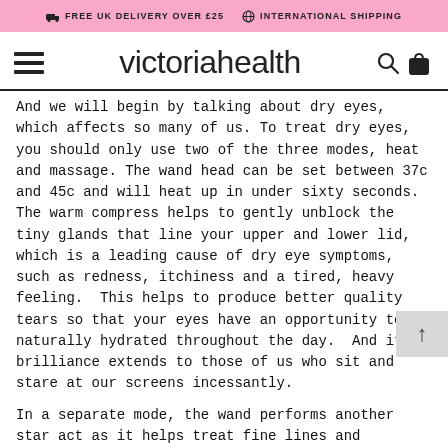FREE UK DELIVERY OVER £25   INTERNATIONAL SHIPPING
[Figure (logo): Victoria Health website navigation bar with hamburger menu, 'victoriahealth' logo, search and bag icons]
And we will begin by talking about dry eyes, which affects so many of us. To treat dry eyes, you should only use two of the three modes, heat and massage. The wand head can be set between 37c and 45c and will heat up in under sixty seconds.  The warm compress helps to gently unblock the tiny glands that line your upper and lower lid, which is a leading cause of dry eye symptoms, such as redness, itchiness and a tired, heavy feeling.  This helps to produce better quality tears so that your eyes have an opportunity to be naturally hydrated throughout the day.  And it's brilliance extends to those of us who sit and stare at our screens incessantly.
In a separate mode, the wand performs another star act as it helps treat fine lines and puffiness.